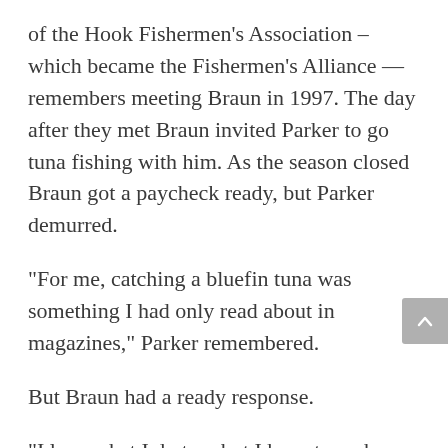of the Hook Fishermen's Association – which became the Fishermen's Alliance — remembers meeting Braun in 1997. The day after they met Braun invited Parker to go tuna fishing with him. As the season closed Braun got a paycheck ready, but Parker demurred.
“For me, catching a bluefin tuna was something I had only read about in magazines,” Parker remembered.
But Braun had a ready response.
“I love what I do too, but I have to make a living. Keep the check,” he told a young